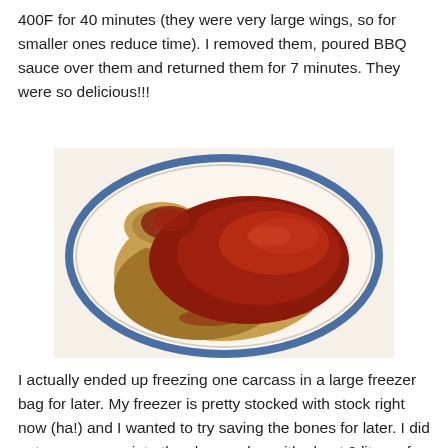400F for 40 minutes (they were very large wings, so for smaller ones reduce time). I removed them, poured BBQ sauce over them and returned them for 7 minutes. They were so delicious!!!
[Figure (photo): A BBQ sauce-covered chicken piece on a white plate with blue rim, showing glistening dark red BBQ sauce over roasted chicken.]
I actually ended up freezing one carcass in a large freezer bag for later. My freezer is pretty stocked with stock right now (ha!) and I wanted to try saving the bones for later. I did put one carcass into the slow cooker with about 2 liters of water to simmer overnight.